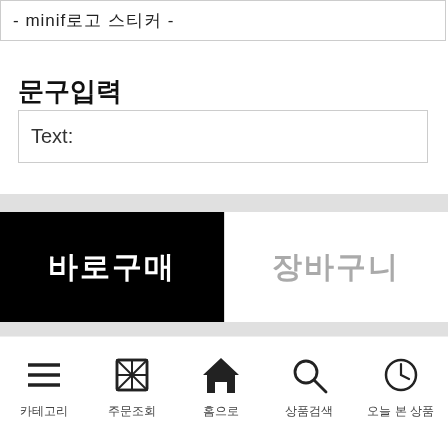- minif로고 스티커 -
문구입력
Text:
바로구매
장바구니
[Figure (infographic): Bottom navigation bar with 5 icons: 카테고리 (hamburger menu), 주문조회 (gift box), 홈으로 (home), 상품검색 (search), 오늘 본 상품 (clock)]